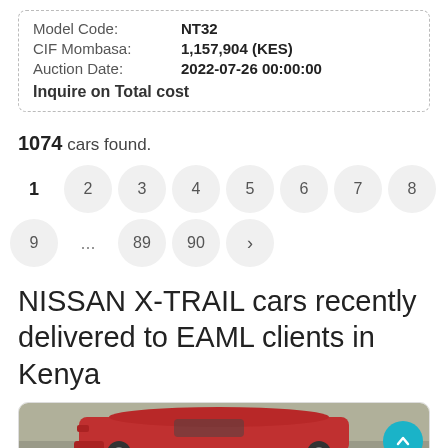| Model Code: | NT32 |
| CIF Mombasa: | 1,157,904 (KES) |
| Auction Date: | 2022-07-26 00:00:00 |
| Inquire on Total cost |  |
1074 cars found.
[Figure (other): Pagination controls showing pages 1 through 9, ..., 89, 90 and a next arrow button]
NISSAN X-TRAIL cars recently delivered to EAML clients in Kenya
[Figure (photo): Red Nissan X-Trail car photographed outdoors, partial view showing front and side]